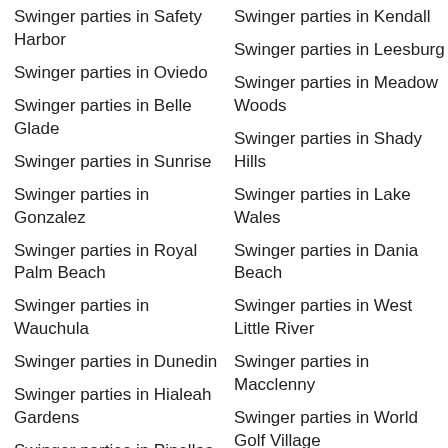Swinger parties in Safety Harbor
Swinger parties in Oviedo
Swinger parties in Belle Glade
Swinger parties in Sunrise
Swinger parties in Gonzalez
Swinger parties in Royal Palm Beach
Swinger parties in Wauchula
Swinger parties in Dunedin
Swinger parties in Hialeah Gardens
Swinger parties in Pinellas Park
Swinger parties in Lady Lake
Swinger parties in Kendall
Swinger parties in Leesburg
Swinger parties in Meadow Woods
Swinger parties in Shady Hills
Swinger parties in Lake Wales
Swinger parties in Dania Beach
Swinger parties in West Little River
Swinger parties in Macclenny
Swinger parties in World Golf Village
Swinger parties in Clewiston
Swinger parties in Jacksonville Beach